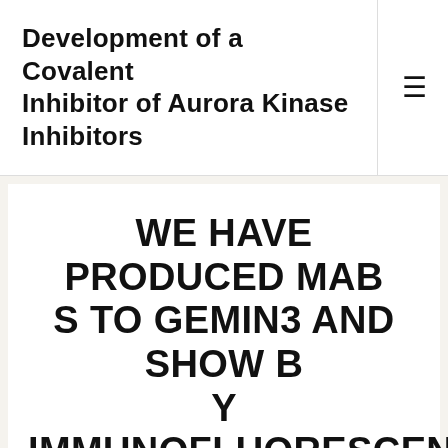Development of a Covalent Inhibitor of Aurora Kinase Inhibitors
WE HAVE PRODUCED MABS TO GEMIN3 AND SHOW BY IMMUNOFLUORESCENCE MICROSCOPY THAT IT COLOCALIZES WITH SMN IN GEMS